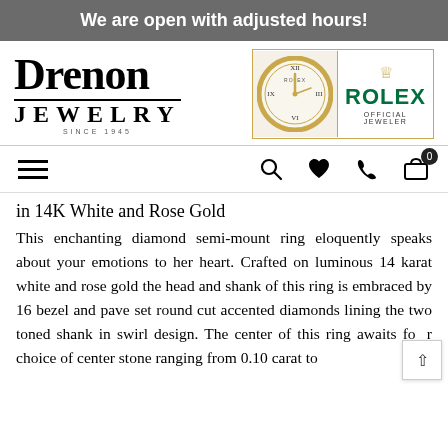We are open with adjusted hours!
[Figure (logo): Drenon Jewelry since 1945 logo on left, Rolex Official Jeweler badge with clock on right]
[Figure (infographic): Navigation bar with hamburger menu, search icon, heart icon, phone icon, and shopping cart with badge showing 0]
in 14K White and Rose Gold
This enchanting diamond semi-mount ring eloquently speaks about your emotions to her heart. Crafted on luminous 14 karat white and rose gold the head and shank of this ring is embraced by 16 bezel and pave set round cut accented diamonds lining the two toned shank in swirl design. The center of this ring awaits for your choice of center stone ranging from 0.10 carat to